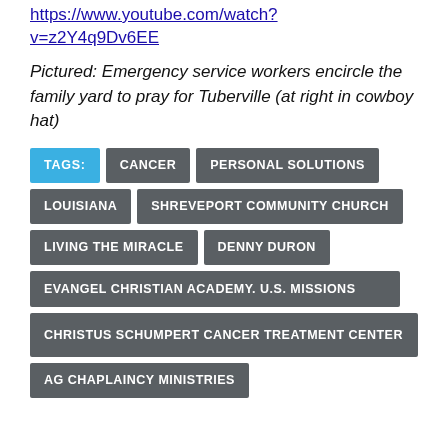https://www.youtube.com/watch?v=z2Y4q9Dv6EE
Pictured: Emergency service workers encircle the family yard to pray for Tuberville (at right in cowboy hat)
TAGS: CANCER PERSONAL SOLUTIONS LOUISIANA SHREVEPORT COMMUNITY CHURCH LIVING THE MIRACLE DENNY DURON EVANGEL CHRISTIAN ACADEMY. U.S. MISSIONS CHRISTUS SCHUMPERT CANCER TREATMENT CENTER AG CHAPLAINCY MINISTRIES